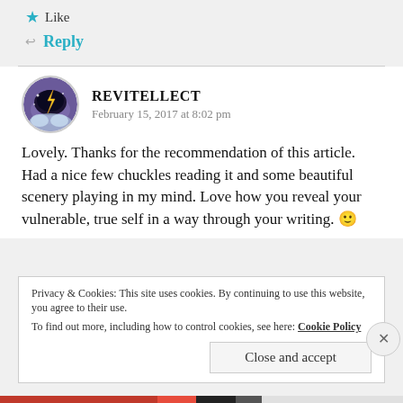★ Like
↩ Reply
REVITELLECT
February 15, 2017 at 8:02 pm
Lovely. Thanks for the recommendation of this article. Had a nice few chuckles reading it and some beautiful scenery playing in my mind. Love how you reveal your vulnerable, true self in a way through your writing. 🙂
Privacy & Cookies: This site uses cookies. By continuing to use this website, you agree to their use.
To find out more, including how to control cookies, see here: Cookie Policy
Close and accept